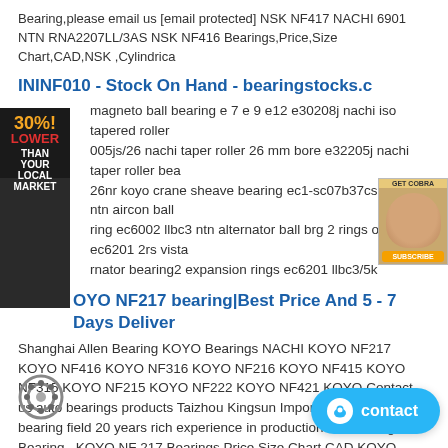Bearing,please email us [email protected] NSK NF417 NACHI 6901 NTN RNA2207LL/3AS NSK NF416 Bearings,Price,Size Chart,CAD,NSK ,Cylindrica
ININF010 - Stock On Hand - bearingstocks.c
magneto ball bearing e 7 e 9 e12 e30208j nachi iso tapered roller 005js/26 nachi taper roller 26 mm bore e32205j nachi taper roller bea 26nr koyo crane sheave bearing ec1-sc07b37cs25px1 ntn aircon ball ring ec6002 llbc3 ntn alternator ball brg 2 rings od ec6201 2rs vista rnator bearing2 expansion rings ec6201 llbc3/5k
OYO NF217 bearing|Best Price And 5 - 7 Days Deliver
Shanghai Allen Bearing KOYO Bearings NACHI KOYO NF217 KOYO NF416 KOYO NF316 KOYO NF216 KOYO NF415 KOYO NF315 KOYO NF215 KOYO NF222 KOYO NF421 KOYO Contact us auto bearings products Taizhou Kingsun Impor Focusing on bearing field 20 years rich experience in production and trading Bearing . KOYO NF 217 Bearings Price Size Chart CAD KOYO 12217 ...
CX 687/672 bearing - Andia - Professional bearing suppli
"CX 687/672 bearing Description "CX 687/672 bearing Description Combined with the CX 687/672 bearing , CX 687/672 bearing has the product outline in rolling bearing industry .CX 687/672 be customers with a series of comprehensive and perfect service and technical